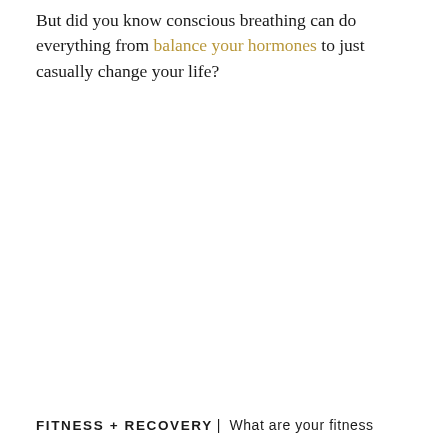But did you know conscious breathing can do everything from balance your hormones to just casually change your life?
FITNESS + RECOVERY | What are your fitness